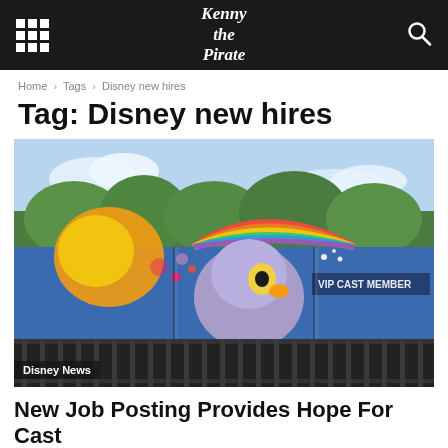Kenny the Pirate
Home > Tags > Disney new hires
Tag: Disney new hires
[Figure (photo): A colorfully painted bus or vehicle featuring Disney cartoon characters and a rainbow mural, with trees and sky in the background. Text visible: VIP CAST MEMBER]
Disney News
New Job Posting Provides Hope For Cast